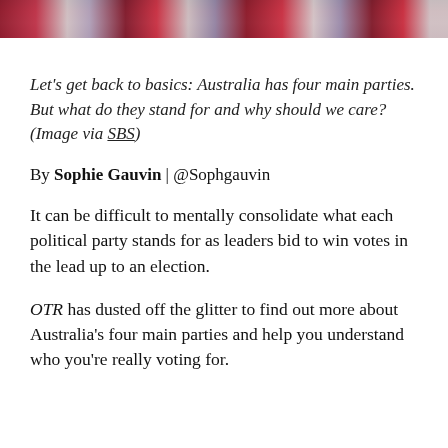[Figure (photo): Cropped top portion of an image showing red and blue colors, likely flags or patriotic imagery related to Australian politics]
Let's get back to basics: Australia has four main parties. But what do they stand for and why should we care? (Image via SBS)
By Sophie Gauvin | @Sophgauvin
It can be difficult to mentally consolidate what each political party stands for as leaders bid to win votes in the lead up to an election.
OTR has dusted off the glitter to find out more about Australia's four main parties and help you understand who you're really voting for.